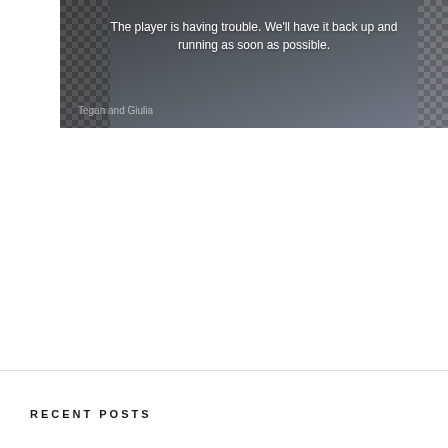[Figure (screenshot): Video player error state showing a dark background with checkerboard pattern on the left side. Error message reads: 'The player is having trouble. We'll have it back up and running as soon as possible.' Label at bottom left reads 'Tegan and Giulia']
RECENT POSTS